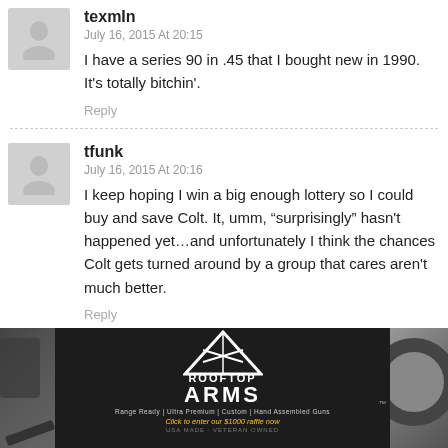texmIn
July 16, 2015 At 20:15
I have a series 90 in .45 that I bought new in 1990. It's totally bitchin'.
Reply
tfunk
July 16, 2015 At 20:16
I keep hoping I win a big enough lottery so I could buy and save Colt. It, umm, “surprisingly” hasn't happened yet…and unfortunately I think the chances Colt gets turned around by a group that cares aren't much better.
Reply
[Figure (photo): Advertisement banner for Rooftop Arms with dark background, white triangle/mountain logo with crossed rifles, text reading ROOFTOP ARMS, tagline Range Ready | Ultra Premium | Custom | Hand Assembled Guns, CTA Click to enter our $1000 raffle now, USA MADE · VETERAN OWNED. Flanked on sides by firearm/tire imagery.]